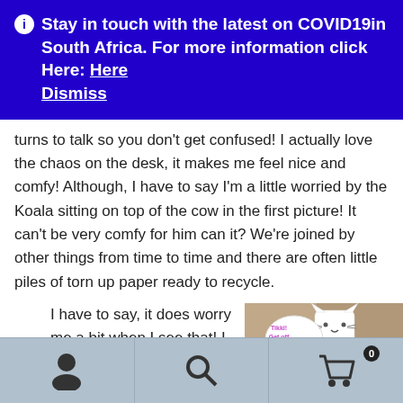Stay in touch with the latest on COVID19in South Africa. For more information click Here: Here Dismiss
turns to talk so you don't get confused! I actually love the chaos on the desk, it makes me feel nice and comfy! Although, I have to say I'm a little worried by the Koala sitting on top of the cow in the first picture! It can't be very comfy for him can it? We're joined by other things from time to time and there are often little piles of torn up paper ready to recycle.
I have to say, it does worry me a bit when I see that! I have to check that Tikki is still on the
[Figure (photo): Photo of a paper cat craft/toy with a speech bubble saying 'Tikki! Get off that pile quickly!']
Navigation bar with user icon, search icon, and cart icon with badge 0